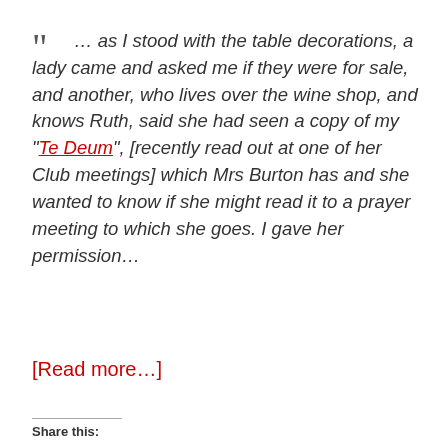" … as I stood with the table decorations, a lady came and asked me if they were for sale, and another, who lives over the wine shop, and knows Ruth, said she had seen a copy of my “Te Deum”, [recently read out at one of her Club meetings] which Mrs Burton has and she wanted to know if she might read it to a prayer meeting to which she goes. I gave her permission…
[Read more…]
Share this: